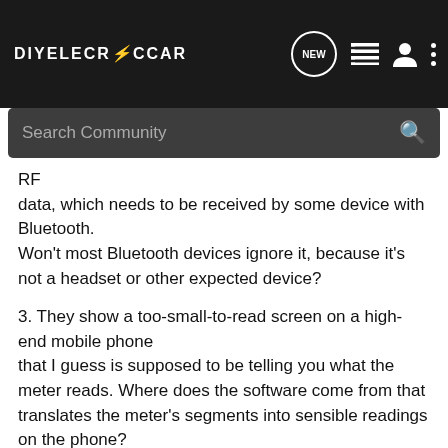DIYELECTRiCCAR [navigation bar with search]
RF
data, which needs to be received by some device with Bluetooth.
Won't most Bluetooth devices ignore it, because it's not a headset or other expected device?
3. They show a too-small-to-read screen on a high-end mobile phone
that I guess is supposed to be telling you what the meter reads. Where does the software come from that translates the meter's segments into sensible readings on the phone?
4. The Protek meter I had was strictly battery operated (no AC adapter option). It also automatically shut itself off after 15 minutes of use, with no option to keep it on. Their Bluetooth device is also battery operated, and probably has a ton of